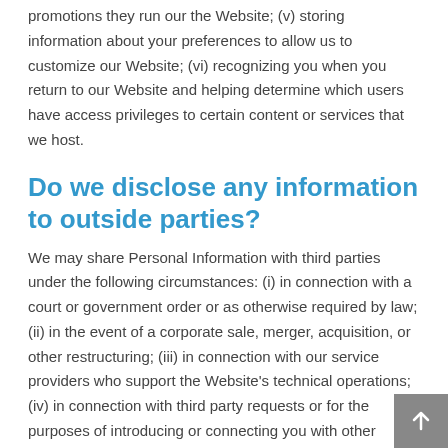promotions they run our the Website; (v) storing information about your preferences to allow us to customize our Website; (vi) recognizing you when you return to our Website and helping determine which users have access privileges to certain content or services that we host.
Do we disclose any information to outside parties?
We may share Personal Information with third parties under the following circumstances: (i) in connection with a court or government order or as otherwise required by law; (ii) in the event of a corporate sale, merger, acquisition, or other restructuring; (iii) in connection with our service providers who support the Website's technical operations; (iv) in connection with third party requests or for the purposes of introducing or connecting you with other